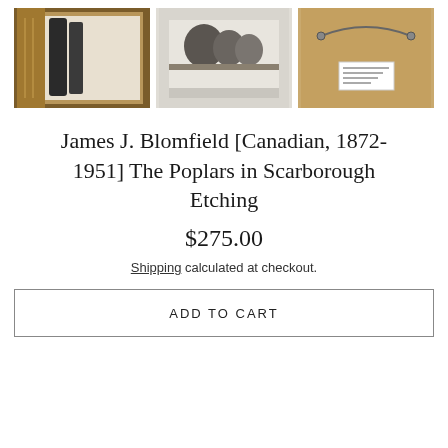[Figure (photo): Three thumbnail images of an etching artwork: left shows ornate gold frame corner with dark tree etching, middle shows a landscape etching print with white mat, right shows the back of the framed artwork with hanging wire and label.]
James J. Blomfield [Canadian, 1872-1951] The Poplars in Scarborough Etching
$275.00
Shipping calculated at checkout.
ADD TO CART